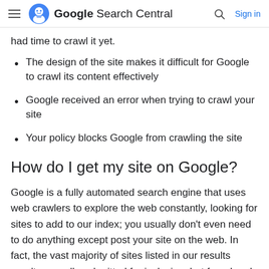Google Search Central  Sign in
had time to crawl it yet.
The design of the site makes it difficult for Google to crawl its content effectively
Google received an error when trying to crawl your site
Your policy blocks Google from crawling the site
How do I get my site on Google?
Google is a fully automated search engine that uses web crawlers to explore the web constantly, looking for sites to add to our index; you usually don't even need to do anything except post your site on the web. In fact, the vast majority of sites listed in our results aren't manually submitted for inclusion, but found and added automatically when we crawl the web. Learn how Google